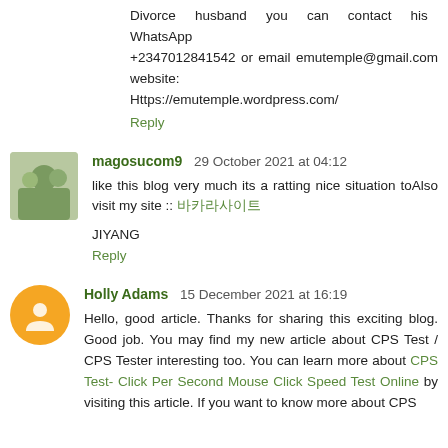Divorce husband you can contact his WhatsApp +2347012841542 or email emutemple@gmail.com website: Https://emutemple.wordpress.com/
Reply
magosucom9  29 October 2021 at 04:12
like this blog very much its a ratting nice situation toAlso visit my site :: 바카라사이트
JIYANG
Reply
Holly Adams  15 December 2021 at 16:19
Hello, good article. Thanks for sharing this exciting blog. Good job. You may find my new article about CPS Test / CPS Tester interesting too. You can learn more about CPS Test- Click Per Second Mouse Click Speed Test Online by visiting this article. If you want to know more about CPS